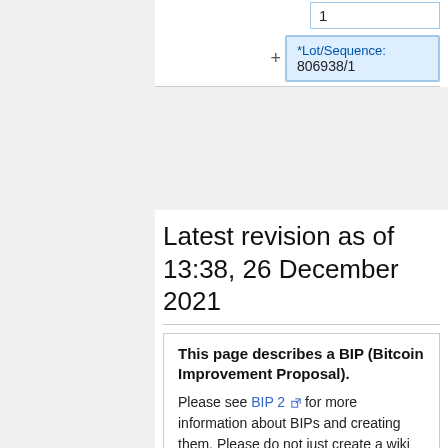1
*Lot/Sequence: 806938/1
Latest revision as of 13:38, 26 December 2021
This page describes a BIP (Bitcoin Improvement Proposal). Please see BIP 2 for more information about BIPs and creating them. Please do not just create a wiki page.
Please do not modify this page. This is a mirror of the BIP from the source Git repository here.